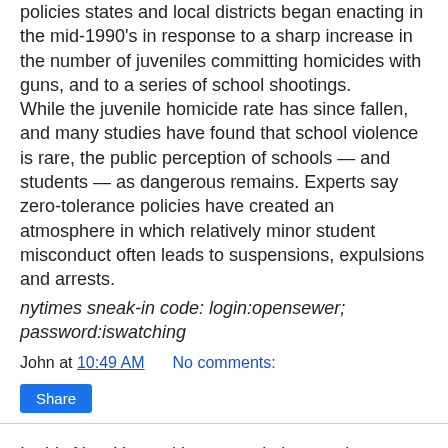policies states and local districts began enacting in the mid-1990's in response to a sharp increase in the number of juveniles committing homicides with guns, and to a series of school shootings. While the juvenile homicide rate has since fallen, and many studies have found that school violence is rare, the public perception of schools — and students — as dangerous remains. Experts say zero-tolerance policies have created an atmosphere in which relatively minor student misconduct often leads to suspensions, expulsions and arrests.
nytimes sneak-in code: login:opensewer; password:iswatching
John at 10:49 AM    No comments:
Share
In this New Year, with our resolutions and attempts to find new direction, it's nice to know what side the Lord is on in the race for the Prez of the USA... it's worth remembering that those who judge others are often judging something